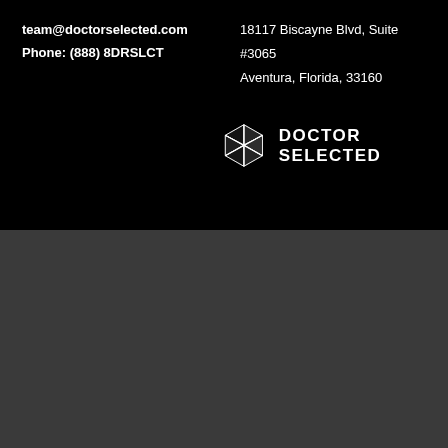team@doctorselected.com
Phone: (888) 8DRSLCT
18117 Biscayne Blvd, Suite #3065
Aventura, Florida, 33160
[Figure (logo): Doctor Selected logo with geometric diamond/shield icon and text DOCTOR SELECTED in white]
[Figure (photo): Supplement bottle - Super Citrimax white bottle with green label]
Doctor Selected™ Super Citrimax - 180 C...
SIZE  180 CAPSULES
$32.90
Chat with us